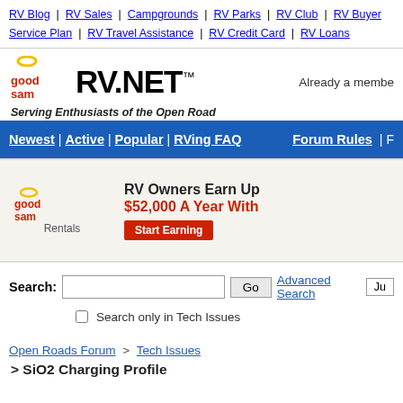RV Blog | RV Sales | Campgrounds | RV Parks | RV Club | RV Buyer Service Plan | RV Travel Assistance | RV Credit Card | RV Loans
[Figure (logo): Good Sam RV.NET logo with tagline 'Serving Enthusiasts of the Open Road']
Already a member
Newest | Active | Popular | RVing FAQ | Forum Rules
[Figure (infographic): Good Sam Rentals advertisement: RV Owners Earn Up $52,000 A Year With - Start Earning button]
Search: [text input] Go Advanced Search Ju
Search only in Tech Issues
Open Roads Forum > Tech Issues
> SiO2 Charging Profile